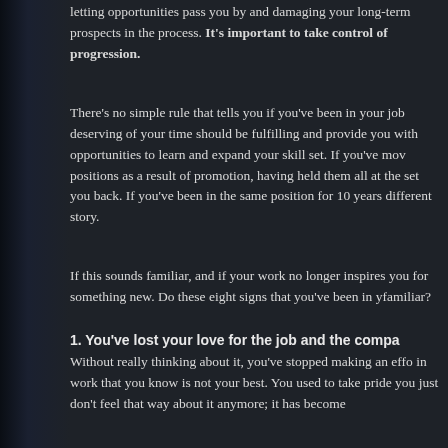letting opportunities pass you by and damaging your long-term prospects in the process. It's important to take control of your progression.
There's no simple rule that tells you if you've been in your job too long. Work deserving of your time should be fulfilling and provide you with opportunities to learn and expand your skill set. If you've moved through positions as a result of promotion, having held them all at the same company, that shouldn't set you back. If you've been in the same position for 10 years without movement, that's a different story.
If this sounds familiar, and if your work no longer inspires you, it may be time to look for something new. Do these eight signs that you've been in your job too long sound familiar?
1. You've lost your love for the job and the company
Without really thinking about it, you've stopped making an effort and you're turning in work that you know is not your best. You used to take pride in what you did, but you just don't feel that way about it anymore; it has become a chore.